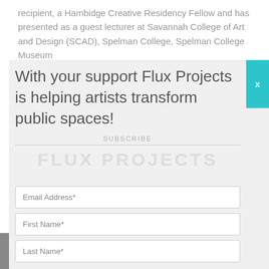recipient, a Hambidge Creative Residency Fellow and has presented as a guest lecturer at Savannah College of Art and Design (SCAD), Spelman College, Spelman College Museum
With your support Flux Projects is helping artists transform public spaces!
SUBSCRIBE
FLUX PROJECTS
Email Address*
First Name*
Last Name*